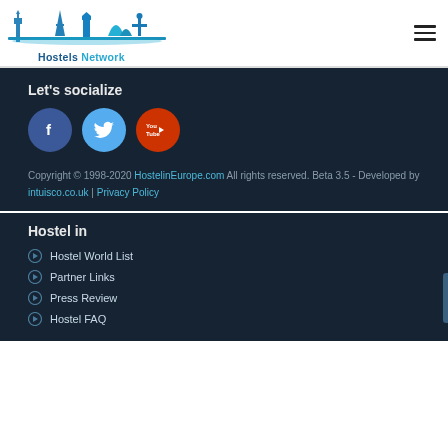[Figure (logo): Hostels Network logo with skyline illustration in blue tones]
Let's socialize
[Figure (infographic): Three social media icons: Facebook (blue circle), Twitter (light blue circle), YouTube (red circle)]
Copyright © 1998-2020 HostelinEurope.com All rights reserved. Beta 3.5 - Developed by intuisco.co.uk | Privacy Policy
Hostel in
Hostel World List
Partner Links
Press Review
Hostel FAQ